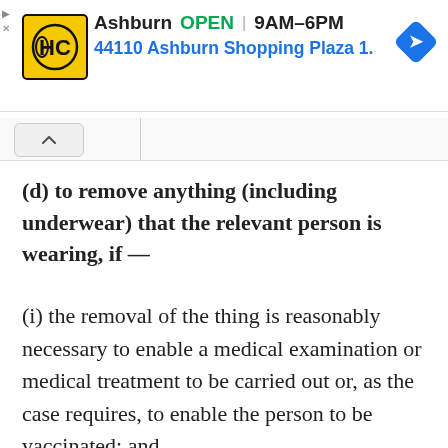[Figure (other): Ad banner for HC (Haverty's/Hardware store) in Ashburn showing OPEN status, hours 9AM-6PM, address 44110 Ashburn Shopping Plaza 1., with navigation arrow icon]
(d) to remove anything (including underwear) that the relevant person is wearing, if —
(i) the removal of the thing is reasonably necessary to enable a medical examination or medical treatment to be carried out or, as the case requires, to enable the person to be vaccinated; and